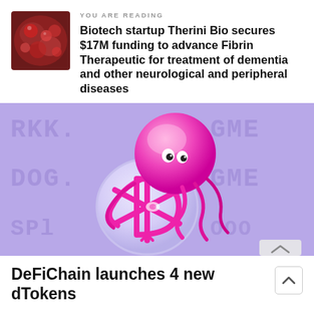YOU ARE READING
Biotech startup Therini Bio secures $17M funding to advance Fibrin Therapeutic for treatment of dementia and other neurological and peripheral diseases
[Figure (illustration): Colorful 3D illustration of a jellyfish-like character in pink/magenta holding a circular coin/token with a snowflake-D logo, set against a purple/lavender background with faint ticker symbols (RKK, GME, DOG, OOO, SP). Represents DeFiChain crypto token.]
DeFiChain launches 4 new dTokens